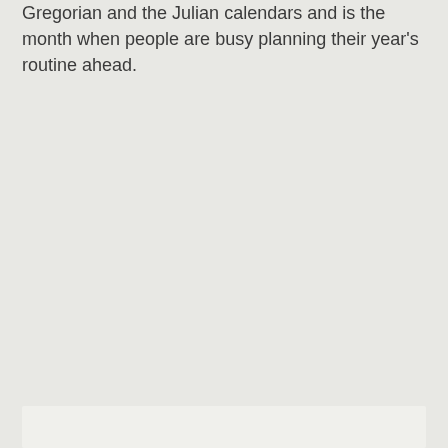Gregorian and the Julian calendars and is the month when people are busy planning their year's routine ahead.
[Figure (other): White/light rectangular box at the bottom of the page, partially visible]